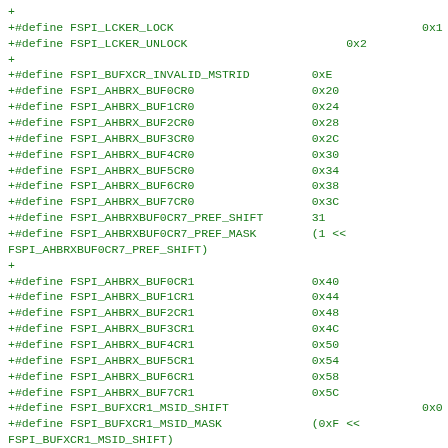+
+#define FSPI_LCKER_LOCK                                    0x1
+#define FSPI_LCKER_UNLOCK                       0x2
+
+#define FSPI_BUFXCR_INVALID_MSTRID         0xE
+#define FSPI_AHBRX_BUF0CR0                 0x20
+#define FSPI_AHBRX_BUF1CR0                 0x24
+#define FSPI_AHBRX_BUF2CR0                 0x28
+#define FSPI_AHBRX_BUF3CR0                 0x2C
+#define FSPI_AHBRX_BUF4CR0                 0x30
+#define FSPI_AHBRX_BUF5CR0                 0x34
+#define FSPI_AHBRX_BUF6CR0                 0x38
+#define FSPI_AHBRX_BUF7CR0                 0x3C
+#define FSPI_AHBRXBUF0CR7_PREF_SHIFT       31
+#define FSPI_AHBRXBUF0CR7_PREF_MASK        (1 <<
FSPI_AHBRXBUF0CR7_PREF_SHIFT)
+
+#define FSPI_AHBRX_BUF0CR1                 0x40
+#define FSPI_AHBRX_BUF1CR1                 0x44
+#define FSPI_AHBRX_BUF2CR1                 0x48
+#define FSPI_AHBRX_BUF3CR1                 0x4C
+#define FSPI_AHBRX_BUF4CR1                 0x50
+#define FSPI_AHBRX_BUF5CR1                 0x54
+#define FSPI_AHBRX_BUF6CR1                 0x58
+#define FSPI_AHBRX_BUF7CR1                 0x5C
+#define FSPI_BUFXCR1_MSID_SHIFT                                0x0
+#define FSPI_BUFXCR1_MSID_MASK             (0xF <<
FSPI_BUFXCR1_MSID_SHIFT)
+#define FSPI_BUFXCR1_PRIO_SHIFT                                0x8
+#define FSPI_BUFXCR1_PRIO_MASK             (0x7 <<